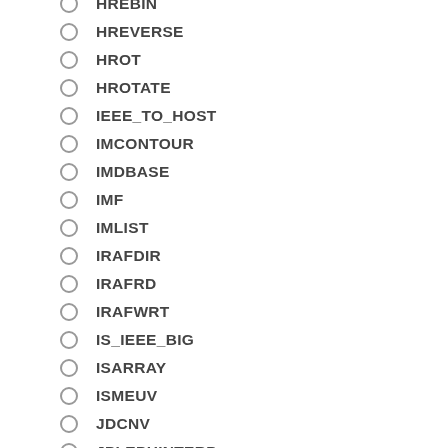HREBIN
HREVERSE
HROT
HROTATE
IEEE_TO_HOST
IMCONTOUR
IMDBASE
IMF
IMLIST
IRAFDIR
IRAFRD
IRAFWRT
IS_IEEE_BIG
ISARRAY
ISMEUV
JDCNV
JPLEPHINTERP
JPLEPHREAD
JPLEPHTEST
JPRECESS
JULDATE